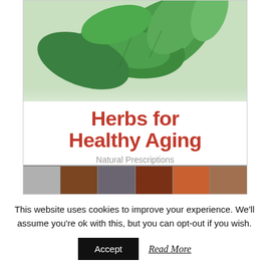[Figure (illustration): Book cover for 'Herbs for Healthy Aging: Natural Prescriptions for Vibrant Health'. Features a close-up photograph of green herb leaves (mint/lemon balm) at the top, a bold red title in the middle on white background, a gray subtitle, and a strip of spice/herb images at the bottom.]
This website uses cookies to improve your experience. We'll assume you're ok with this, but you can opt-out if you wish.
Accept   Read More